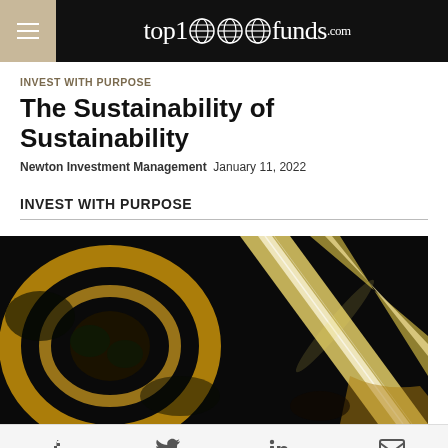top1000funds.com
INVEST WITH PURPOSE
The Sustainability of Sustainability
Newton Investment Management  January 11, 2022
INVEST WITH PURPOSE
[Figure (photo): Aerial night view of an illuminated highway interchange with golden light streaks across dark roads]
Social share icons: Facebook, Twitter, LinkedIn, Email